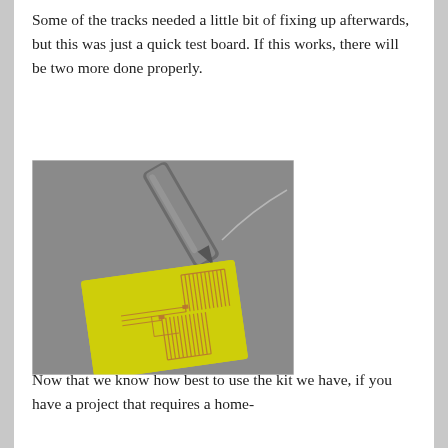Some of the tracks needed a little bit of fixing up afterwards, but this was just a quick test board. If this works, there will be two more done properly.
[Figure (photo): Photo of a yellow PCB (printed circuit board) with copper tracks/traces etched on it, being worked on with a metal tool or pen from above. The board is placed on a grey surface.]
Now that we know how best to use the kit we have, if you have a project that requires a home-